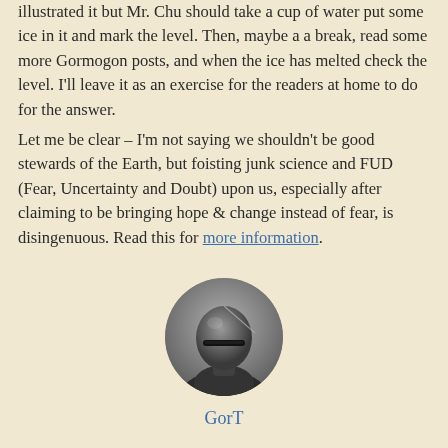illustrated it but Mr. Chu should take a cup of water put some ice in it and mark the level. Then, maybe a a break, read some more Gormogon posts, and when the ice has melted check the level. I'll leave it as an exercise for the readers at home to do for the answer.

Let me be clear – I'm not saying we shouldn't be good stewards of the Earth, but foisting junk science and FUD (Fear, Uncertainty and Doubt) upon us, especially after claiming to be bringing hope & change instead of fear, is disingenuous. Read this for more information.
[Figure (photo): Circular avatar image of a dark metallic or masked humanoid figure with a narrow visor/mouth slit, gray background, shown from shoulders up.]
GorT